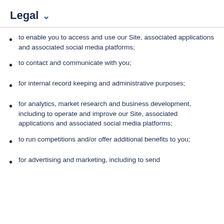Legal
to enable you to access and use our Site, associated applications and associated social media platforms;
to contact and communicate with you;
for internal record keeping and administrative purposes;
for analytics, market research and business development, including to operate and improve our Site, associated applications and associated social media platforms;
to run competitions and/or offer additional benefits to you;
for advertising and marketing, including to send